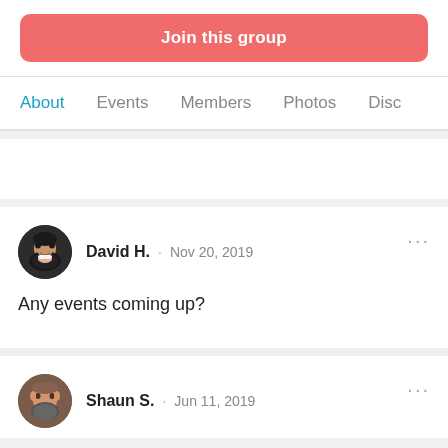Join this group
About  Events  Members  Photos  Disc
David H. · Nov 20, 2019
Any events coming up?
Shaun S. · Jun 11, 2019